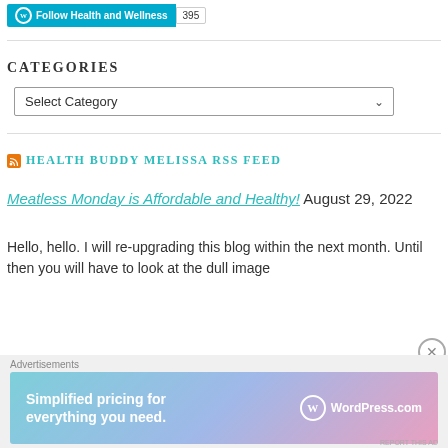Follow Health and Wellness | 395
CATEGORIES
Select Category
HEALTH BUDDY MELISSA RSS FEED
Meatless Monday is Affordable and Healthy! August 29, 2022
Hello, hello. I will re-upgrading this blog within the next month. Until then you will have to look at the dull image
Advertisements
[Figure (infographic): WordPress.com advertisement banner: 'Simplified pricing for everything you need.' with WordPress.com logo on gradient background]